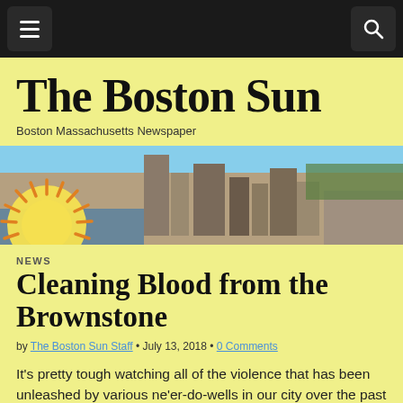Navigation bar with menu and search buttons
The Boston Sun
Boston Massachusetts Newspaper
[Figure (photo): Aerial view of Boston city with The Boston Sun logo overlay (sun icon in orange/yellow on left side)]
NEWS
Cleaning Blood from the Brownstone
by The Boston Sun Staff • July 13, 2018 • 0 Comments
It's pretty tough watching all of the violence that has been unleashed by various ne'er-do-wells in our city over the past few months – particularly over the July 4 holiday and into this week.